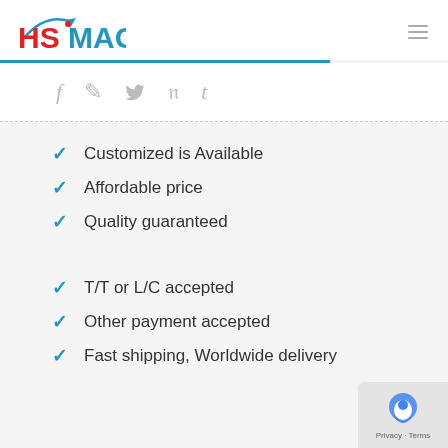[Figure (logo): HSMAG logo with red HS and blue MAG text and blue arc/arrow graphic]
[Figure (infographic): Social media icons row: Facebook (f), Blogger (B), Twitter (bird), Pinterest (P), Tumblr (t) in light gray]
Customized is Available
Affordable price
Quality guaranteed
T/T or L/C accepted
Other payment accepted
Fast shipping, Worldwide delivery